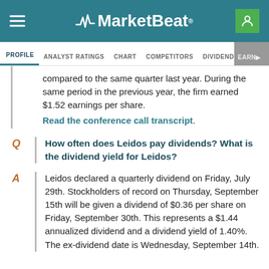MarketBeat
PROFILE  ANALYST RATINGS  CHART  COMPETITORS  DIVIDEND  EARNINGS
compared to the same quarter last year. During the same period in the previous year, the firm earned $1.52 earnings per share. Read the conference call transcript.
Q  How often does Leidos pay dividends? What is the dividend yield for Leidos?
A  Leidos declared a quarterly dividend on Friday, July 29th. Stockholders of record on Thursday, September 15th will be given a dividend of $0.36 per share on Friday, September 30th. This represents a $1.44 annualized dividend and a dividend yield of 1.40%. The ex-dividend date is Wednesday, September 14th.